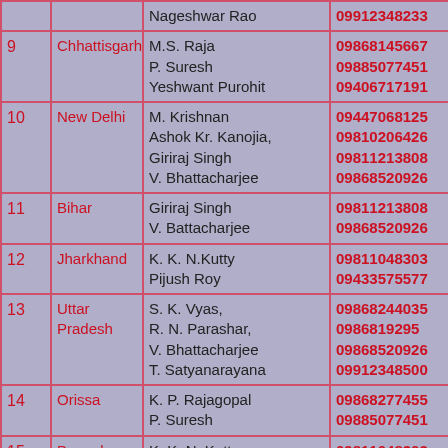| # | State | Name | Phone |
| --- | --- | --- | --- |
|  |  | Nageshwar Rao | 09912348233 |
| 9 | Chhattisgarh | M.S. Raja
P. Suresh
Yeshwant Purohit | 09868145667
09885077451
09406717191 |
| 10 | New Delhi | M. Krishnan
Ashok Kr. Kanojia,
Giriraj Singh
V. Bhattacharjee | 09447068125
09810206426
09811213808
09868520926 |
| 11 | Bihar | Giriraj Singh
V. Battacharjee | 09811213808
09868520926 |
| 12 | Jharkhand | K. K. N.Kutty
Pijush Roy | 09811048303
09433575577 |
| 13 | Uttar Pradesh | S. K. Vyas,
R. N. Parashar,
V. Bhattacharjee
T. Satyanarayana | 09868244035
0986819295
09868520926
09912348500 |
| 14 | Orissa | K. P. Rajagopal
P. Suresh | 09868277455
09885077451 |
| 15 | Bengal | K. K. N. Kutty | 09811048303 |